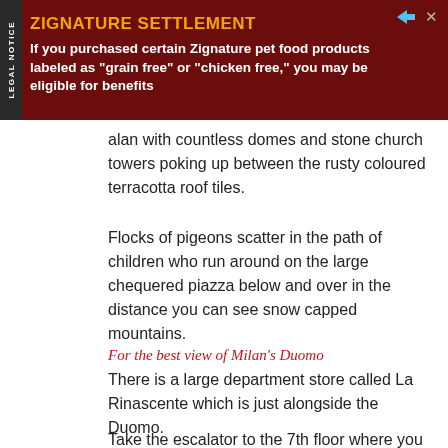[Figure (other): Advertisement banner for Zignature Settlement legal notice with dark red background, yellow title text 'ZIGNATURE SETTLEMENT', white body text about pet food class action, and a 'LEGAL NOTICE' label on the left side.]
alan with countless domes and stone church towers poking up between the rusty coloured terracotta roof tiles.
Flocks of pigeons scatter in the path of children who run around on the large chequered piazza below and over in the distance you can see snow capped mountains.
For the best view of Milan's Duomo
There is a large department store called La Rinascente which is just alongside the Duomo.
Take the escalator to the 7th floor where you will find a row of restaurants and bars and arguably the best place to experience the Duomo as you are looking AT it, rather than from it.